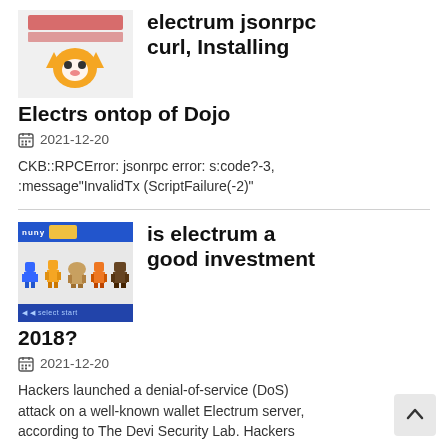[Figure (photo): Thumbnail image of a fox icon on white/light background for article about electrum jsonrpc curl]
electrum jsonrpc curl, Installing Electrs ontop of Dojo
2021-12-20
CKB::RPCError: jsonrpc error: s:code?-3, :message"InvalidTx (ScriptFailure(-2)"
[Figure (photo): Thumbnail image showing pixel art characters and a game banner for article about is electrum a good investment 2018]
is electrum a good investment 2018?
2021-12-20
Hackers launched a denial-of-service (DoS) attack on a well-known wallet Electrum server, according to The Devi Security Lab. Hackers